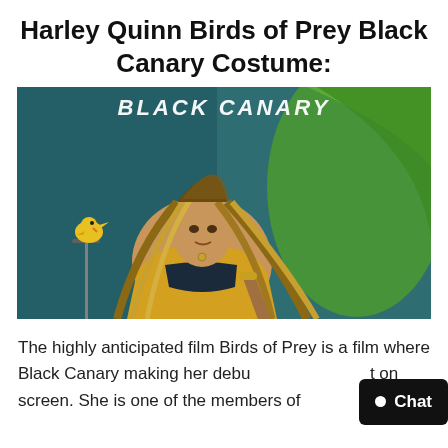Harley Quinn Birds of Prey Black Canary Costume:
[Figure (illustration): Promotional movie poster illustration of Black Canary character from Birds of Prey film. A woman with long highlighted braided hair wearing a yellow top and black bustier, holding a baseball bat, with a yellow canary on a microphone stand to the left, and a green cape/flag blowing in the wind behind her. Text reading BLACK CANARY visible at the top.]
The highly anticipated film Birds of Prey is a film where Black Canary making her debut on screen. She is one of the members of by Harley Quinn and striving to take down the